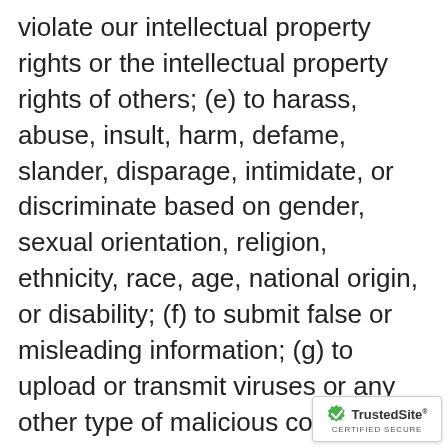violate our intellectual property rights or the intellectual property rights of others; (e) to harass, abuse, insult, harm, defame, slander, disparage, intimidate, or discriminate based on gender, sexual orientation, religion, ethnicity, race, age, national origin, or disability; (f) to submit false or misleading information; (g) to upload or transmit viruses or any other type of malicious code that will or may be used in any way that will affect the functionality or operation of the Service or of any related website, other websites, or the Internet; (h) to collect or track the personal information of others; (i) to spam, phish, pharm, pretext, spider, crawl, or scrape; (j) for any obscene or immora
[Figure (logo): TrustedSite CERTIFIED SECURE badge with green checkmark shield icon]